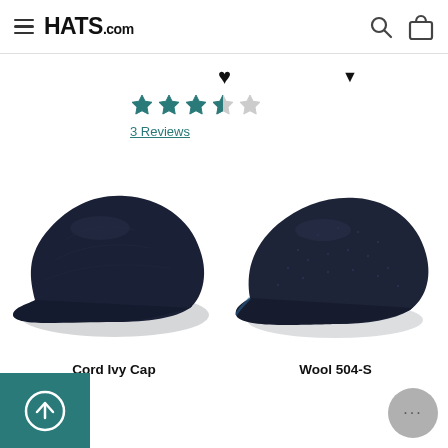HATS.com
3 Reviews
[Figure (photo): Dark navy Cord Ivy Cap flat cap, side/top view on white background]
Cord Ivy Cap
[Figure (photo): Dark navy Wool 504-S flat cap, side/top view on white background]
Wool 504-S